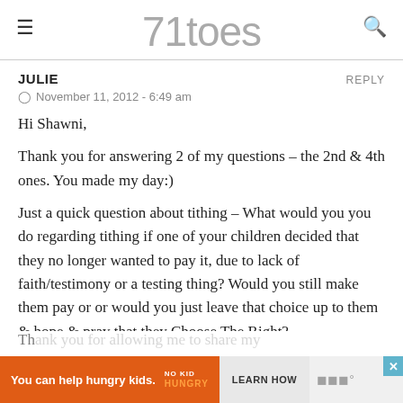71toes
JULIE
REPLY
November 11, 2012 - 6:49 am
Hi Shawni,
Thank you for answering 2 of my questions – the 2nd & 4th ones. You made my day:)
Just a quick question about tithing – What would you you do regarding tithing if one of your children decided that they no longer wanted to pay it, due to lack of faith/testimony or a testing thing? Would you still make them pay or or would you just leave that choice up to them & hope & pray that they Choose The Right?
[Figure (screenshot): Advertisement bar: orange background with 'You can help hungry kids.' text, No Kid Hungry logo, and Learn How button]